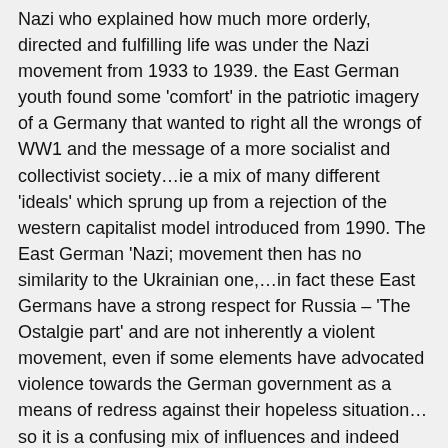Nazi who explained how much more orderly, directed and fulfilling life was under the Nazi movement from 1933 to 1939. the East German youth found some 'comfort' in the patriotic imagery of a Germany that wanted to right all the wrongs of WW1 and the message of a more socialist and collectivist society…ie a mix of many different 'ideals' which sprung up from a rejection of the western capitalist model introduced from 1990. The East German 'Nazi; movement then has no similarity to the Ukrainian one,…in fact these East Germans have a strong respect for Russia – 'The Ostalgie part' and are not inherently a violent movement, even if some elements have advocated violence towards the German government as a means of redress against their hopeless situation…so it is a confusing mix of influences and indeed these kids are totally confused and ruderless…but at their core, they are well-meaning and looking for some direction… The Alternative fuer Deutschland (AfD) party gained a lot more members from these disaffected circles and this opened the AfD to fierce criticism that they were a Nazi party but i have yet to find any 'real' Nazi ideology in any of the AfDs political statements . There is too much confusion surrounding words like Democracy or Fascism, Nationalism or Socialism and people read into them whatever positives or negatives suits their own worldview. For